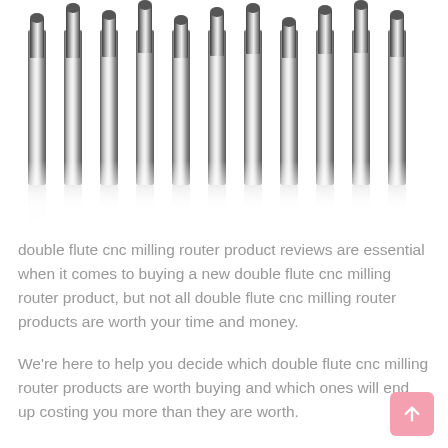[Figure (photo): Multiple double flute CNC milling router bits arranged side by side, showing metallic shiny shafts with spiral cutting flutes at the top, with reflections visible below each bit on a white background.]
double flute cnc milling router product reviews are essential when it comes to buying a new double flute cnc milling router product, but not all double flute cnc milling router products are worth your time and money.
We're here to help you decide which double flute cnc milling router products are worth buying and which ones will end up costing you more than they are worth.